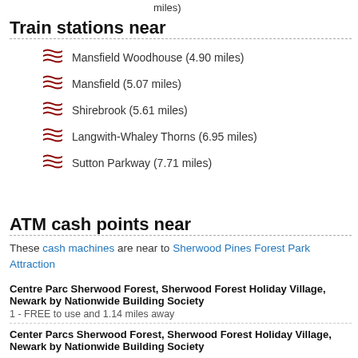miles)
Train stations near
Mansfield Woodhouse (4.90 miles)
Mansfield (5.07 miles)
Shirebrook (5.61 miles)
Langwith-Whaley Thorns (6.95 miles)
Sutton Parkway (7.71 miles)
ATM cash points near
These cash machines are near to Sherwood Pines Forest Park Attraction
Centre Parc Sherwood Forest, Sherwood Forest Holiday Village, Newark by Nationwide Building Society
1 - FREE to use and 1.14 miles away
Center Parcs Sherwood Forest, Sherwood Forest Holiday Village, Newark by Nationwide Building Society